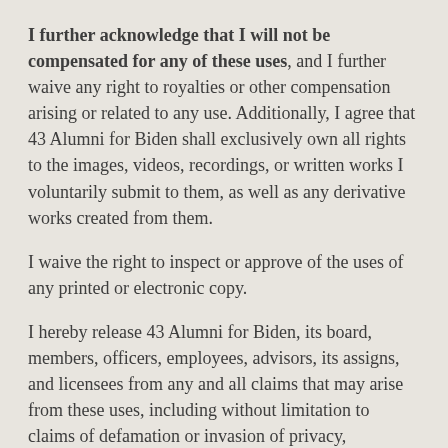I further acknowledge that I will not be compensated for any of these uses, and I further waive any right to royalties or other compensation arising or related to any use. Additionally, I agree that 43 Alumni for Biden shall exclusively own all rights to the images, videos, recordings, or written works I voluntarily submit to them, as well as any derivative works created from them.
I waive the right to inspect or approve of the uses of any printed or electronic copy.
I hereby release 43 Alumni for Biden, its board, members, officers, employees, advisors, its assigns, and licensees from any and all claims that may arise from these uses, including without limitation to claims of defamation or invasion of privacy, infringement of moral rights, rights of publicity or